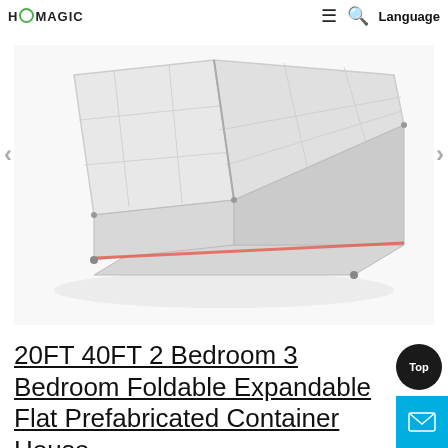H O MAGIC   ≡  🔍  Language
[Figure (photo): A white foldable expandable prefabricated container house shown partially unfolded/open, viewed from an angle, with panels and roof visible in a product photo on white background.]
20FT 40FT 2 Bedroom 3 Bedroom Foldable Expandable Flat Prefabricated Container House